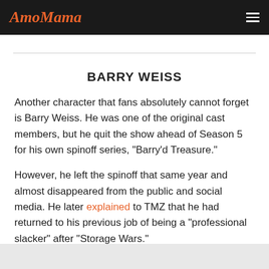AmoMama
BARRY WEISS
Another character that fans absolutely cannot forget is Barry Weiss. He was one of the original cast members, but he quit the show ahead of Season 5 for his own spinoff series, "Barry'd Treasure."
However, he left the spinoff that same year and almost disappeared from the public and social media. He later explained to TMZ that he had returned to his previous job of being a "professional slacker" after "Storage Wars."